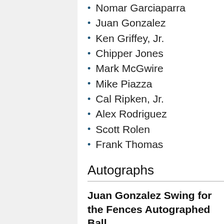Nomar Garciaparra
Juan Gonzalez
Ken Griffey, Jr.
Chipper Jones
Mark McGwire
Mike Piazza
Cal Ripken, Jr.
Alex Rodriguez
Scott Rolen
Frank Thomas
Autographs
Juan Gonzalez Swing for the Fences Autographed Ball
Randomly inserted into packs was a coupon good for a Major League Baseball autographed by Texas